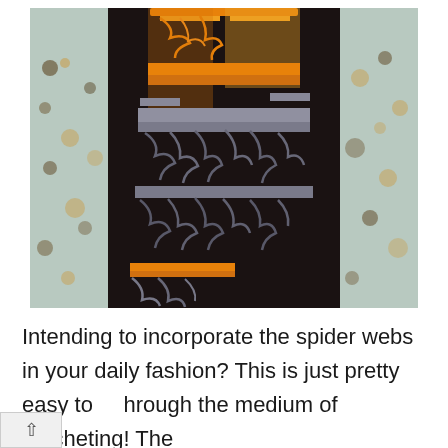[Figure (photo): A crocheted scarf/shawl displayed on a dark mannequin or body, showing a lace spider web crochet pattern in orange/yellow at the top transitioning to grey/dark grey, with orange accent at the bottom. The item is flanked by floral curtains on both sides.]
Intending to incorporate the spider webs in your daily fashion? This is just pretty easy to through the medium of crocheting! The